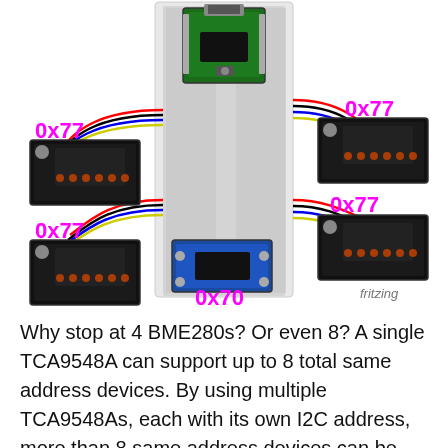[Figure (schematic): Fritzing wiring diagram showing a microcontroller on a breadboard connected via I2C (red, black, blue, yellow wires) to four BME280 sensor breakout boards. The TCA9548A I2C multiplexer (labeled 0x70) is mounted on the breadboard. Four BME280 sensors are labeled with their I2C addresses: 0x77 (upper-left), 0x77 (lower-left), 0x77 (upper-right), 0x77 (lower-right). The word 'fritzing' appears in the lower-right corner.]
Why stop at 4 BME280s? Or even 8? A single TCA9548A can support up to 8 total same address devices. By using multiple TCA9548As, each with its own I2C address, more than 8 same address devices can be used. There are 8 total settable addresses for the TCA9548A, with values 0x70 to